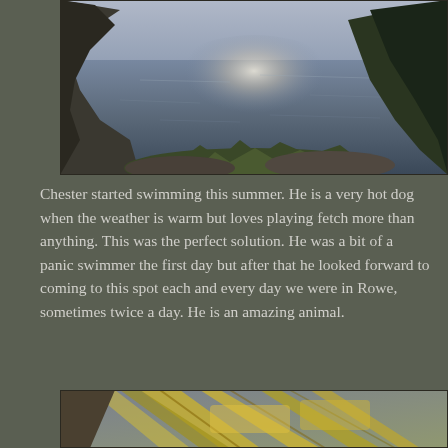[Figure (photo): Outdoor nature photo showing a rocky cliff overlooking a shimmering body of water (lake or river), with green trees and grass in the background and sunlight reflecting off the water surface.]
Chester started swimming this summer.  He is a very hot dog when the weather is warm but loves playing fetch more than anything.  This was the perfect solution.  He was a bit of a panic swimmer the first day but after that he looked forward to coming to this spot each and every day we were in Rowe, sometimes twice a day.  He is an amazing animal.
[Figure (photo): Close-up photo of ears of corn with husks partially peeled back, showing dried or partially dried corn cobs on what appears to be a wooden surface.]